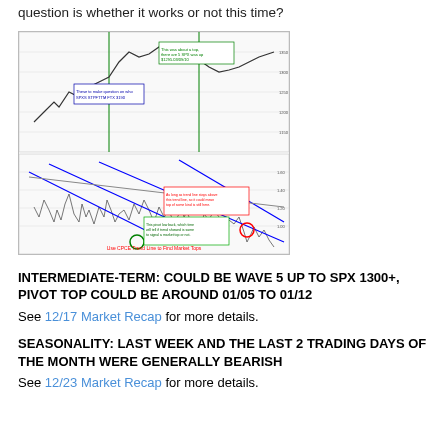question is whether it works or not this time?
[Figure (continuous-plot): A technical analysis chart showing two panels: the upper panel displays a stock price chart (likely S&P 500) with candlestick/line data showing a broad rally then decline, with green vertical lines marking key dates and annotation boxes. The lower panel shows the CPCE (CBOE Put/Call Equity) ratio with overlaid blue trend lines marking descending patterns, a green circle at a pivot low, a red circle near a pivot high, and a text label reading 'Use CPCE Trend Line to Find Market Tops'.]
INTERMEDIATE-TERM: COULD BE WAVE 5 UP TO SPX 1300+, PIVOT TOP COULD BE AROUND 01/05 TO 01/12
See 12/17 Market Recap for more details.
SEASONALITY: LAST WEEK AND THE LAST 2 TRADING DAYS OF THE MONTH WERE GENERALLY BEARISH
See 12/23 Market Recap for more details.